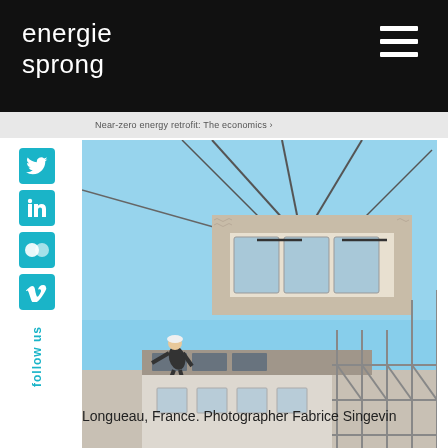energie sprong
follow us
[Figure (photo): Construction site photo showing an insulated wall panel being lifted by a crane over scaffolding, with a worker visible below. Blue sky background. Longueau, France.]
Longueau, France. Photographer Fabrice Singevin